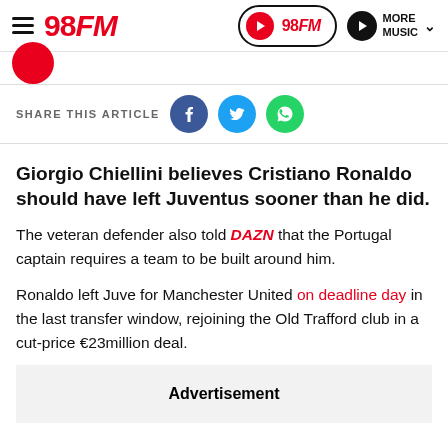98FM — navigation header with hamburger menu, 98FM logo, play pill, and More Music button
SHARE THIS ARTICLE
Giorgio Chiellini believes Cristiano Ronaldo should have left Juventus sooner than he did.
The veteran defender also told DAZN that the Portugal captain requires a team to be built around him.
Ronaldo left Juve for Manchester United on deadline day in the last transfer window, rejoining the Old Trafford club in a cut-price €23million deal.
Advertisement